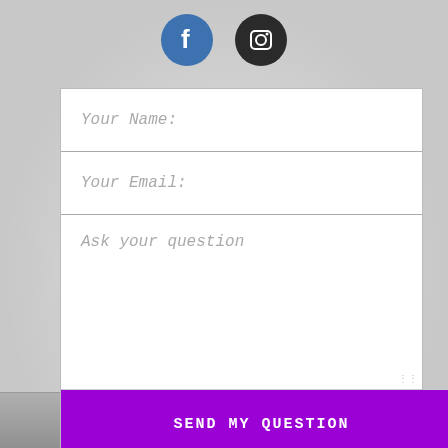[Figure (illustration): Facebook circular icon (blue background with white 'f' letter) and Instagram circular icon (dark/black background with white camera outline). Social media icons displayed at top center.]
Your Name:
Your Email:
Ask your question
SEND MY QUESTION